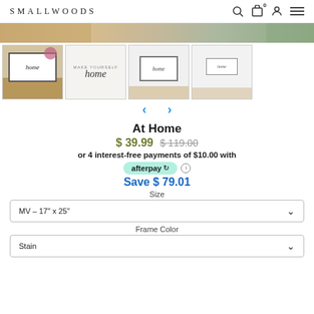SMALLWOODS
[Figure (screenshot): Product image thumbnail strip showing 4 views of a framed 'home' sign: first thumbnail shows sign on wooden surface with flowers, second shows logo/text only on white, third and fourth show sign displayed on white wall with shelf decor]
At Home
$ 39.99  $ 119.00
or 4 interest-free payments of $10.00 with
afterpay
Save $ 79.01
Size
MV – 17" x 25"
Frame Color
Stain